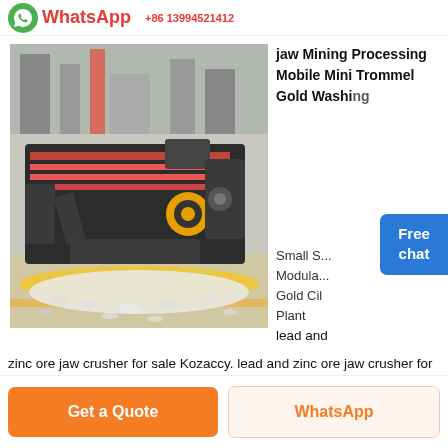WhatsApp
[Figure (photo): Industrial mining screening or washing equipment machine (large dark-colored mechanical unit) displayed in a factory or exhibition hall with white gravel/stones on the floor, orange and yellow floor markings visible]
jaw Mining Processing Mobile Mini Trommel Gold Washing Small S... Modula... Gold Cil Plant
lead and zinc ore jaw crusher for sale Kozaccy. lead and zinc ore jaw crusher for sale Small Mining Equipment for Gold, Silver, Copper, Zinc, Lead all Metals Small Jaw Crusher 2 1/4″ x 3″ US $2,000 $1,450 Add to cart Details Sale! 1″ x 2″ Mini Rock Crusher XRF Sample Pulveriser An ore stockpile after primary crushing is deslead and zinc ore jaw crusher for
Free chat
Get a Quote
WhatsApp